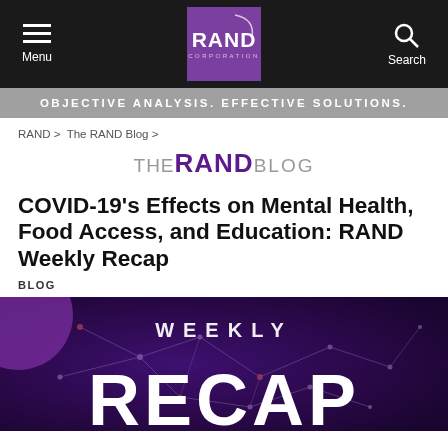Menu | RAND Corporation | Search
OBJECTIVE ANALYSIS. EFFECTIVE SOLUTIONS.
RAND > The RAND Blog >
THE RAND BLOG
COVID-19's Effects on Mental Health, Food Access, and Education: RAND Weekly Recap
BLOG
[Figure (illustration): Hero banner image with dark purple network background, showing 'WEEKLY RECAP' text in white over a network/connectivity visualization]